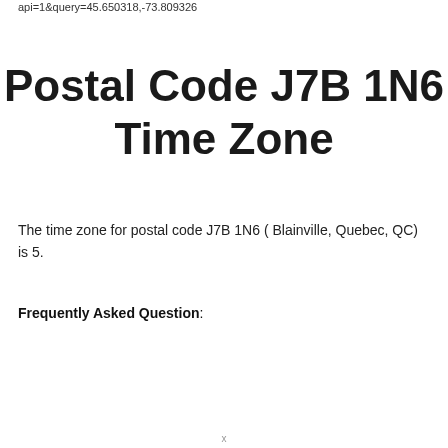api=1&query=45.650318,-73.809326
Postal Code J7B 1N6 Time Zone
The time zone for postal code J7B 1N6 ( Blainville, Quebec, QC) is 5.
Frequently Asked Question:
x